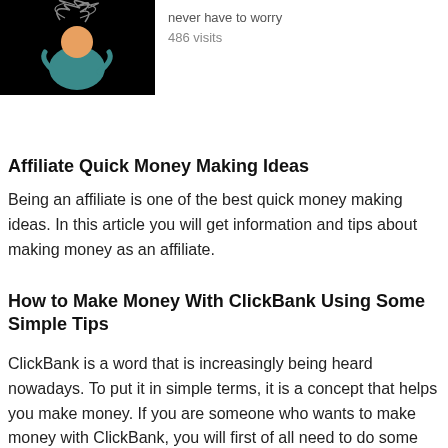[Figure (illustration): Black background illustration of a person with swirling lines around their head, stressed figure in teal/orange colors]
never have to worry
486 visits
Affiliate Quick Money Making Ideas
Being an affiliate is one of the best quick money making ideas. In this article you will get information and tips about making money as an affiliate.
How to Make Money With ClickBank Using Some Simple Tips
ClickBank is a word that is increasingly being heard nowadays. To put it in simple terms, it is a concept that helps you make money. If you are someone who wants to make money with ClickBank, you will first of all need to do some